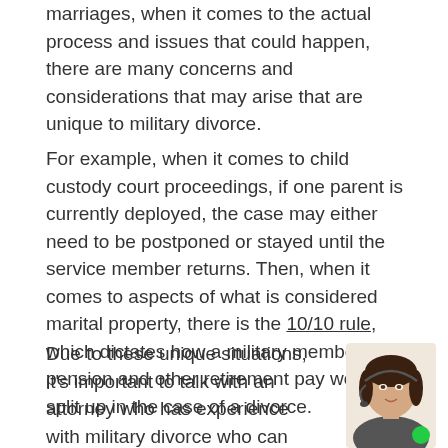marriages, when it comes to the actual process and issues that could happen, there are many concerns and considerations that may arise that are unique to military divorce.
For example, when it comes to child custody court proceedings, if one parent is currently deployed, the case may either need to be postponed or stayed until the service member returns. Then, when it comes to aspects of what is considered marital property, there is the 10/10 rule, which dictates how a military member's pension and other retirement pay would be split up in the case of a divorce.
Due to these unique situations, it's important to talk with an attorney who has experience with military divorce who can make sure to explain all of the possible repercussions and scenarios.
[Figure (photo): Headshot of a woman with dark hair wearing a headset, with a green circle indicator, positioned in the lower right corner of the page.]